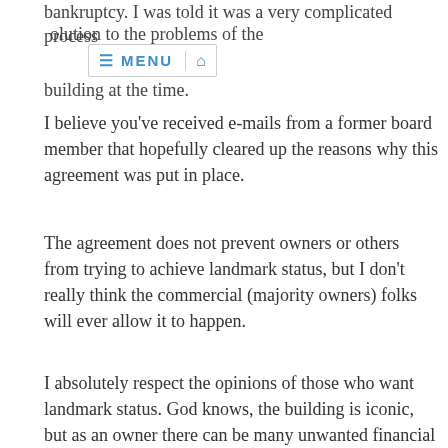bankruptcy. I was told it was a very complicated process
MENU [home icon] olution to the problems of the building at the time.
I believe you've received e-mails from a former board member that hopefully cleared up the reasons why this agreement was put in place.
The agreement does not prevent owners or others from trying to achieve landmark status, but I don't really think the commercial (majority owners) folks will ever allow it to happen.
I absolutely respect the opinions of those who want landmark status. God knows, the building is iconic, but as an owner there can be many unwanted financial burdens that come with it.
Changes that cannot be made. Restorations become much more expensive, etc.